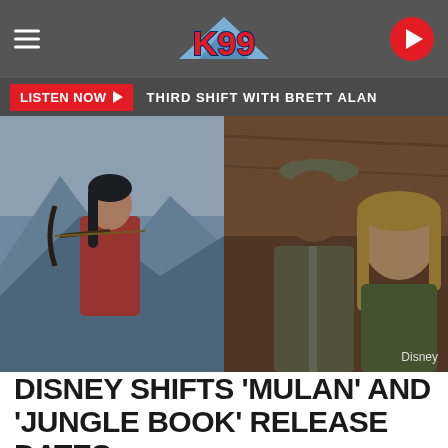K99
LISTEN NOW  THIRD SHIFT WITH BRETT ALAN
[Figure (photo): Split movie still: left side shows a woman in red drawing a bow and arrow (Mulan), right side shows a man in a captain's hat and a blonde woman (Jungle Cruise). Disney credit in bottom right.]
DISNEY SHIFTS 'MULAN' AND 'JUNGLE BOOK' RELEASE DATES